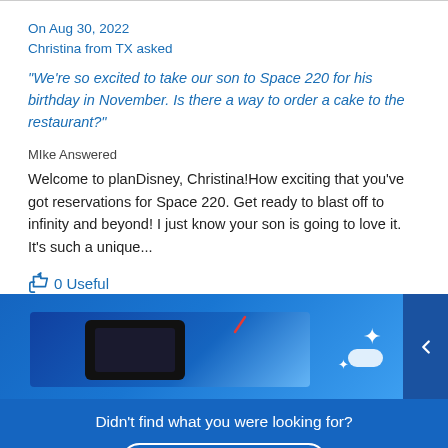On Aug 30, 2022
Christina from TX asked
“We’re so excited to take our son to Space 220 for his birthday in November. Is there a way to order a cake to the restaurant?”
MIke Answered
Welcome to planDisney, Christina!How exciting that you’ve got reservations for Space 220. Get ready to blast off to infinity and beyond! I just know your son is going to love it. It's such a unique...
👍 0 Useful
[Figure (screenshot): Blue-toned background image strip showing a Disney Space 220 restaurant scene with a device/screen element and sparkle decorations, with a left-pointing arrow navigation button on the right side.]
Didn’t find what you were looking for?
Ask a Question